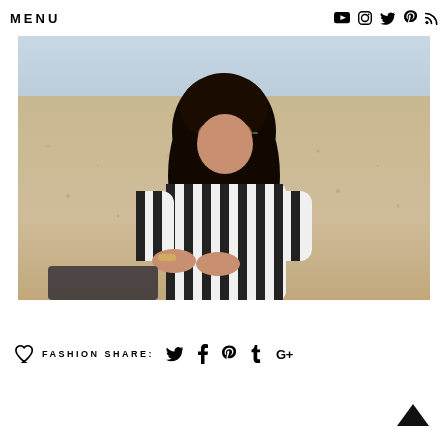MENU
[Figure (photo): Young woman with long dark curly hair wearing oversized striped black and white shirt/dress and round sunglasses, sitting on sandy beach with light blue sky in background.]
♡ FASHION SHARE: 🐦 f ⑀ t G+
▲